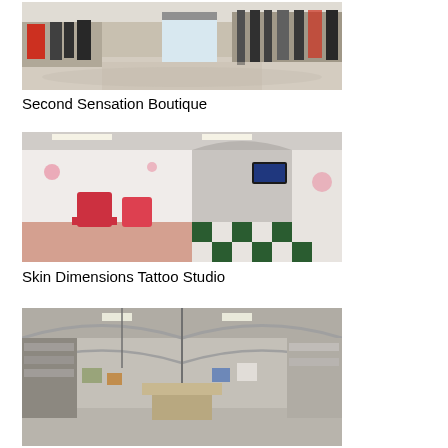[Figure (photo): 360-degree panoramic interior photo of Second Sensation Boutique, showing clothing racks and retail store interior]
Second Sensation Boutique
[Figure (photo): 360-degree panoramic interior photo of Skin Dimensions Tattoo Studio, showing red chairs, white walls with art, and checkered floor]
Skin Dimensions Tattoo Studio
[Figure (photo): 360-degree panoramic interior photo of a retail/craft store with arched ceiling, showing shelves and merchandise displays]